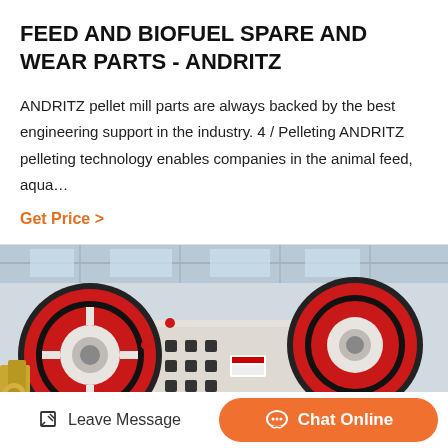FEED AND BIOFUEL SPARE AND WEAR PARTS - ANDRITZ
ANDRITZ pellet mill parts are always backed by the best engineering support in the industry. 4 / Pelleting ANDRITZ pelleting technology enables companies in the animal feed, aqua…
Get Price >
[Figure (photo): Industrial pellet mill machinery with large red and black flywheel/pulley wheels and white metal frame in a factory setting]
Leave Message   Chat Online